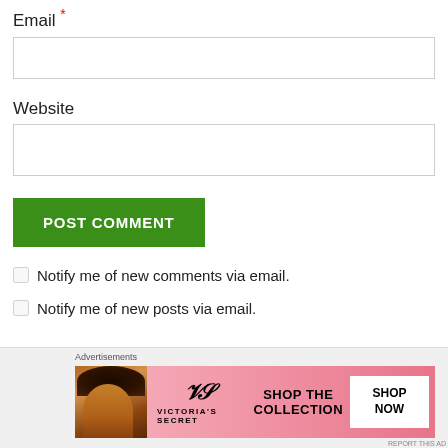Email *
Website
POST COMMENT
Notify me of new comments via email.
Notify me of new posts via email.
[Figure (photo): Victoria's Secret advertisement banner with a model, VS logo, 'SHOP THE COLLECTION' text and 'SHOP NOW' button on pink background]
Advertisements